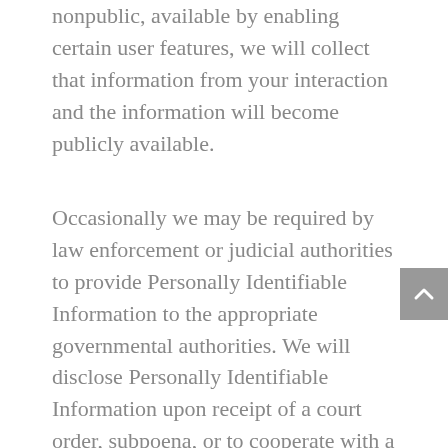nonpublic, available by enabling certain user features, we will collect that information from your interaction and the information will become publicly available.
Occasionally we may be required by law enforcement or judicial authorities to provide Personally Identifiable Information to the appropriate governmental authorities. We will disclose Personally Identifiable Information upon receipt of a court order, subpoena, or to cooperate with a law enforcement investigation. We fully cooperate with law enforcement agencies in identifying those who use our services for illegal activities. We reserve the right to report to law enforcement agencies any